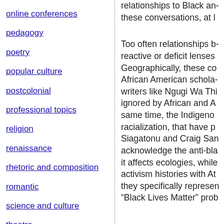online conferences
pedagogy
poetry
popular culture
postcolonial
professional topics
religion
renaissance
rhetoric and composition
romantic
science and culture
theatre
theory
translation studies
relationships to Black an- these conversations, at l
Too often relationships b- reactive or deficit lenses Geographically, these co African American schola- writers like Ngugi Wa Thi ignored by African and A same time, the Indigeno racialization, that have p Siagatonu and Craig San acknowledge the anti-bla it affects ecologies, while activism histories with At they specifically represen “Black Lives Matter” prob